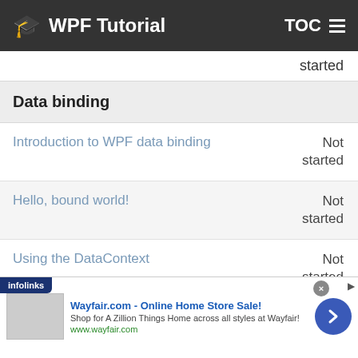WPF Tutorial  TOC
started
Data binding
Introduction to WPF data binding  Not started
Hello, bound world!  Not started
Using the DataContext  Not started
[Figure (screenshot): Infolinks and Wayfair.com advertisement banner at bottom of page]